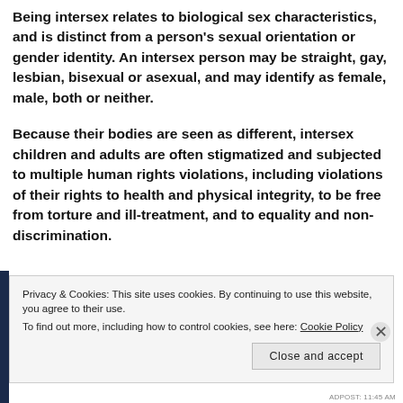Being intersex relates to biological sex characteristics, and is distinct from a person's sexual orientation or gender identity. An intersex person may be straight, gay, lesbian, bisexual or asexual, and may identify as female, male, both or neither.
Because their bodies are seen as different, intersex children and adults are often stigmatized and subjected to multiple human rights violations, including violations of their rights to health and physical integrity, to be free from torture and ill-treatment, and to equality and non- discrimination.
Privacy & Cookies: This site uses cookies. By continuing to use this website, you agree to their use.
To find out more, including how to control cookies, see here: Cookie Policy
Close and accept